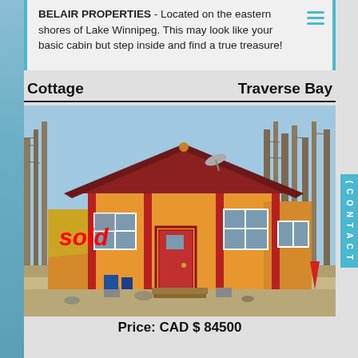BELAIR PROPERTIES - Located on the eastern shores of Lake Winnipeg. This may look like your basic cabin but step inside and find a true treasure!
Cottage    Traverse Bay
[Figure (photo): Exterior photo of a small orange/yellow cabin with red trim and roof, surrounded by birch trees, with 'sold' overlaid in red text and date '28.04.2021' at the bottom left.]
Price: CAD $ 84500